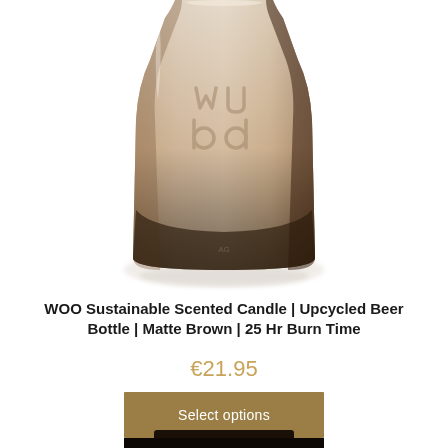[Figure (photo): Close-up photo of a WOO matte brown upcycled beer bottle candle with embossed WOO logo on the surface, showing gradient from beige/cream at top to dark brown/charcoal at bottom, with a soft reflection beneath the bottle on a white background.]
WOO Sustainable Scented Candle | Upcycled Beer Bottle | Matte Brown | 25 Hr Burn Time
€21.95
Select options
[Figure (photo): Partial view of another dark candle at the very bottom of the page, cut off.]